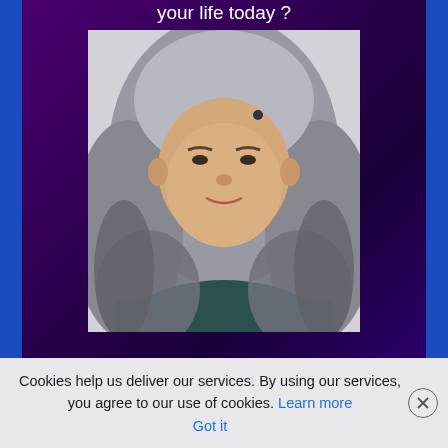your life today ?
[Figure (photo): Portrait photo of a middle-aged woman with long wavy gray hair, wearing a dark teal top, smiling slightly at the camera against a light background]
Cookies help us deliver our services. By using our services, you agree to our use of cookies. Learn more Got it